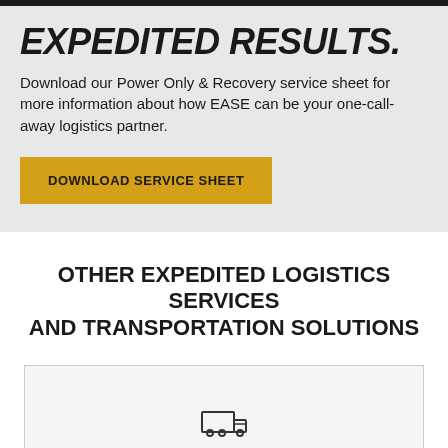EXPEDITED RESULTS.
Download our Power Only & Recovery service sheet for more information about how EASE can be your one-call-away logistics partner.
DOWNLOAD SERVICE SHEET
OTHER EXPEDITED LOGISTICS SERVICES AND TRANSPORTATION SOLUTIONS
[Figure (other): Partial view of a logistics service card with an icon at the bottom of the page]